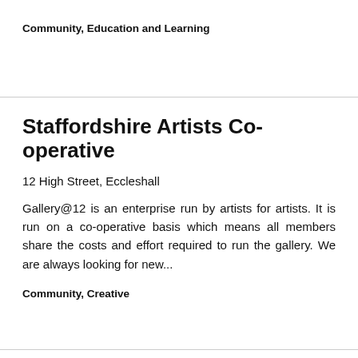Community, Education and Learning
Staffordshire Artists Co-operative
12 High Street, Eccleshall
Gallery@12 is an enterprise run by artists for artists. It is run on a co-operative basis which means all members share the costs and effort required to run the gallery. We are always looking for new...
Community, Creative
The Commercial Photographers